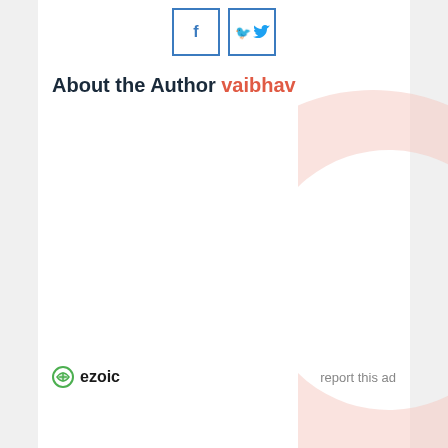[Figure (other): Facebook and Twitter social share icon buttons with blue borders]
About the Author vaibhav
[Figure (illustration): Decorative pink/rose large letter C shape in the top right corner]
ezoic
report this ad